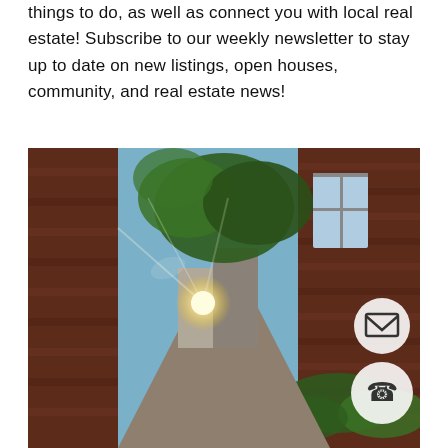things to do, as well as connect you with local real estate! Subscribe to our weekly newsletter to stay up to date on new listings, open houses, community, and real estate news!
[Figure (photo): A narrow brick alley/lane between tall brick walls, with sunlight flaring through trees at the far end, green ivy on the right wall, historic brick buildings visible in background, blue sky above. Two circular white icon buttons overlay the bottom-right: an envelope/email icon and a phone icon.]